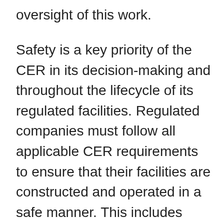oversight of this work.
Safety is a key priority of the CER in its decision-making and throughout the lifecycle of its regulated facilities. Regulated companies must follow all applicable CER requirements to ensure that their facilities are constructed and operated in a safe manner. This includes requirements set out in the underlying Certificate and Orders and commitments Trans Mountain made with respect to the safe construction and operation of the Burnaby Terminal and Westridge Marine